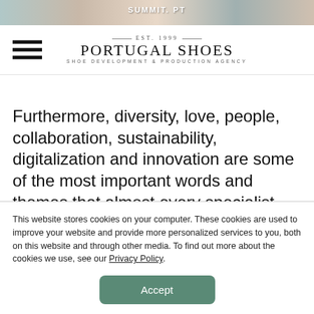[Figure (photo): Top banner strip showing partial images of people at a summit event with text 'SUMMIT. PT']
[Figure (logo): Portugal Shoes logo with EST. 1999, SHOE DEVELOPMENT & PRODUCTION AGENCY tagline]
Furthermore, diversity, love, people, collaboration, sustainability, digitalization and innovation are some of the most important words and themes that almost every specialist highlight during their presentations at the Summit.
This website stores cookies on your computer. These cookies are used to improve your website and provide more personalized services to you, both on this website and through other media. To find out more about the cookies we use, see our Privacy Policy.